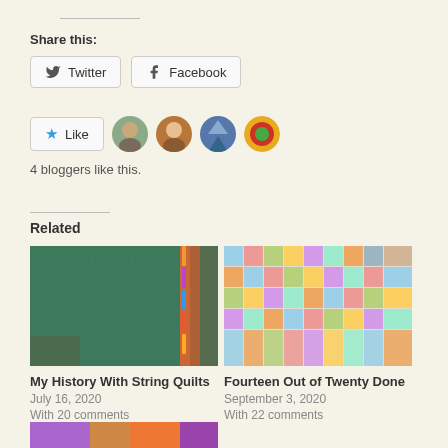Share this:
Twitter
Facebook
Like
4 bloggers like this.
Related
[Figure (photo): Green string quilt hanging outdoors with colorful strip border]
[Figure (photo): Colorful patchwork quilt with butterfly and chevron patterns]
My History With String Quilts
July 16, 2020
With 20 comments
Fourteen Out of Twenty Done
September 3, 2020
With 22 comments
[Figure (photo): Colorful quilt with purple and multi-color fabrics (partial view)]